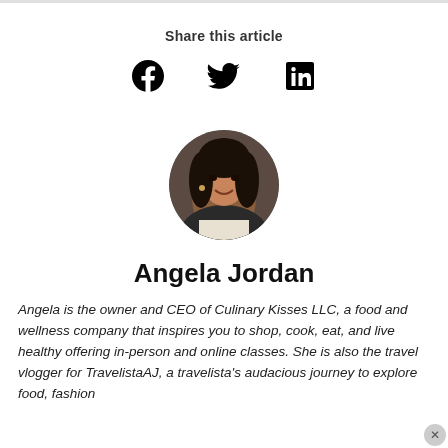Share this article
[Figure (infographic): Social share icons: Facebook, Twitter, LinkedIn]
[Figure (photo): Circular headshot photo of Angela Jordan]
Angela Jordan
Angela is the owner and CEO of Culinary Kisses LLC, a food and wellness company that inspires you to shop, cook, eat, and live healthy offering in-person and online classes. She is also the travel vlogger for TravelistaAJ, a travelista's audacious journey to explore food, fashion